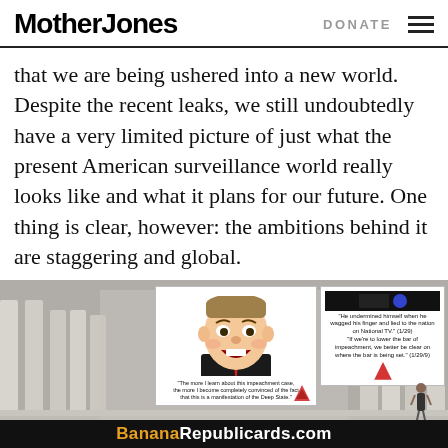Mother Jones | DONATE
that we are being ushered into a new world. Despite the recent leaks, we still undoubtedly have a very limited picture of just what the present American surveillance world really looks like and what it plans for our future. One thing is clear, however: the ambitions behind it are staggering and global.
[Figure (photo): Advertisement banner for BananaRepublicards.com showing a political cartoon caricature of a man in a suit with a red tie, overlapping with cards showing political quotes, all set against a background of a government building with columns. Bottom bar reads 'BananaRepublicards.com' in orange and white text.]